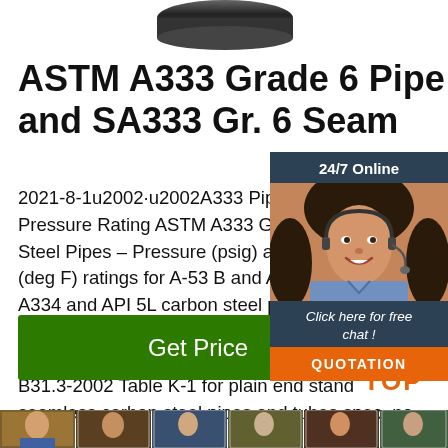[Figure (photo): Partial view of a black steel pipe at top of page]
ASTM A333 Grade 6 Pipe and SA333 Gr. 6 Seam
[Figure (photo): Customer service representative chat widget overlay with '24/7 Online' header, photo of woman with headset, 'Click here for free chat!' text, and orange QUOTATION button]
2021-8-1u2002·u2002A333 Pipe Material Pressure Rating ASTM A333 Grade 6 Carbon Steel Pipes – Pressure (psig) and temperature (deg F) ratings for A-53 B and A-106 B, A334 and API 5L carbon steel pipes – temperatures ranging 100 °F – 700 °F. Ratings calculated (see below the table) according to B31.3-2002 Table K-1 for plain end standard seamless carbon steel pipes and tubes spec. no.
[Figure (other): Green 'Get Price' button]
[Figure (other): Orange TOP back-to-top button with dots]
[Figure (photo): Bottom image strip showing various product/people photos]